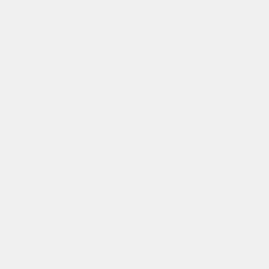this moment the comic has been up for 6 hours... If you think the explanation could be improved this is luckily a wiki, so you could just improve instead of rant ;-) --Kynde (talk) 19:55, 22 March 2017 (UTC)
Did I say that too early? Well it certainly is 24+ hours now and you guys still don't know where the dart target is. :D The comic suggests some matches of geometry in the